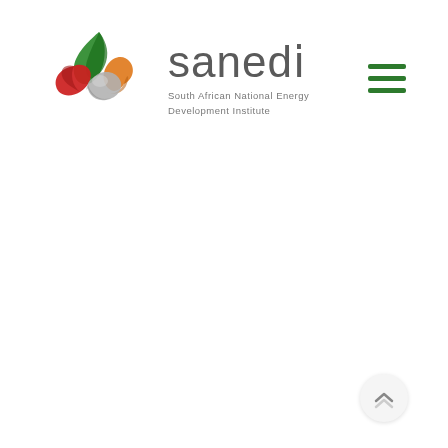[Figure (logo): SANEDI logo: abstract triangular icon with red, green, orange, and silver/grey ribbon shapes, alongside the wordmark 'sanedi' in grey with a red dot over the letter 'i', and tagline 'South African National Energy Development Institute']
[Figure (other): Hamburger menu icon: three horizontal dark green lines stacked vertically, positioned in the upper right corner]
[Figure (other): Scroll-to-top button: circular light grey button with an upward-pointing chevron/caret icon, bottom right corner]